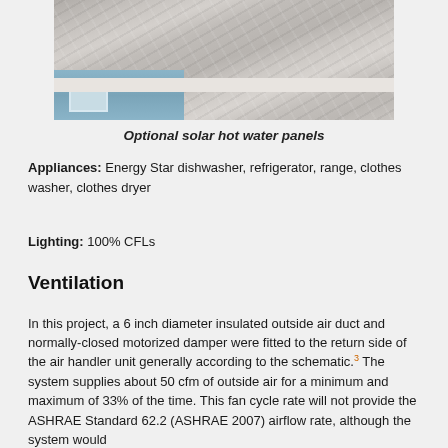[Figure (photo): Photograph of a residential rooftop showing asphalt shingles and blue siding with a window, illustrating optional solar hot water panels installation area.]
Optional solar hot water panels
Appliances: Energy Star dishwasher, refrigerator, range, clothes washer, clothes dryer
Lighting: 100% CFLs
Ventilation
In this project, a 6 inch diameter insulated outside air duct and normally-closed motorized damper were fitted to the return side of the air handler unit generally according to the schematic.³ The system supplies about 50 cfm of outside air for a minimum and maximum of 33% of the time. This fan cycle rate will not provide the ASHRAE Standard 62.2 (ASHRAE 2007) airflow rate, although the system would